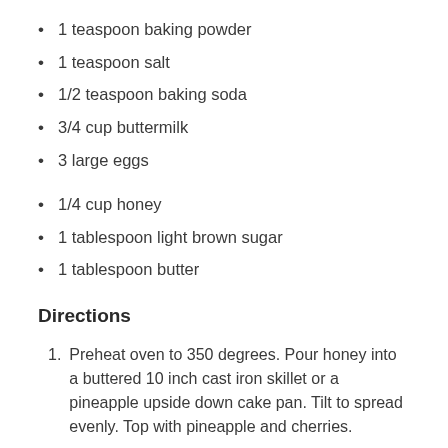1 teaspoon baking powder
1 teaspoon salt
1/2 teaspoon baking soda
3/4 cup buttermilk
3 large eggs
1/4 cup honey
1 tablespoon light brown sugar
1 tablespoon butter
Directions
Preheat oven to 350 degrees. Pour honey into a buttered 10 inch cast iron skillet or a pineapple upside down cake pan. Tilt to spread evenly. Top with pineapple and cherries.
Beat sugar and butter at medium speed with